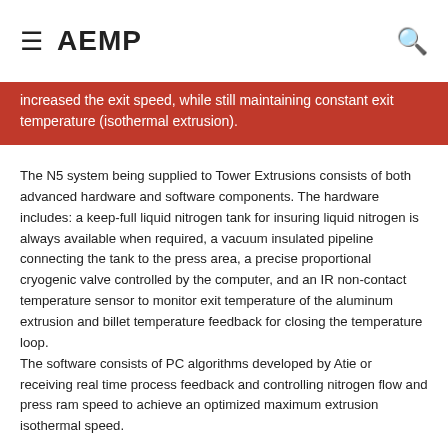AEMP
increased the exit speed, while still maintaining constant exit temperature (isothermal extrusion).
The N5 system being supplied to Tower Extrusions consists of both advanced hardware and software components. The hardware includes: a keep-full liquid nitrogen tank for insuring liquid nitrogen is always available when required, a vacuum insulated pipeline connecting the tank to the press area, a precise proportional cryogenic valve controlled by the computer, and an IR non-contact temperature sensor to monitor exit temperature of the aluminum extrusion and billet temperature feedback for closing the temperature loop.
The software consists of PC algorithms developed by Atie or receiving real time process feedback and controlling nitrogen flow and press ram speed to achieve an optimized maximum extrusion isothermal speed.
Achieving Nitrogen Cooling
Using liquid nitrogen to prevent the overheating of extrusion tooling caused by high frictional forces during the extrusion